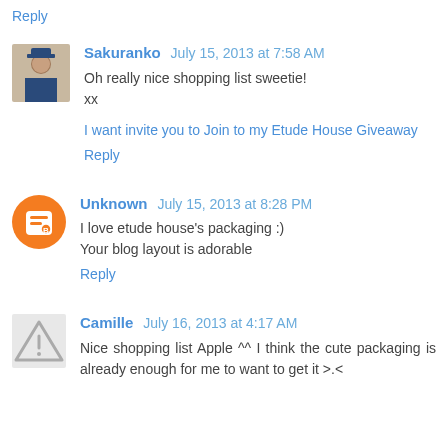Reply
Sakuranko  July 15, 2013 at 7:58 AM
Oh really nice shopping list sweetie!
xx
I want invite you to Join to my Etude House Giveaway
Reply
Unknown  July 15, 2013 at 8:28 PM
I love etude house's packaging :)
Your blog layout is adorable
Reply
Camille  July 16, 2013 at 4:17 AM
Nice shopping list Apple ^^ I think the cute packaging is already enough for me to want to get it >.<